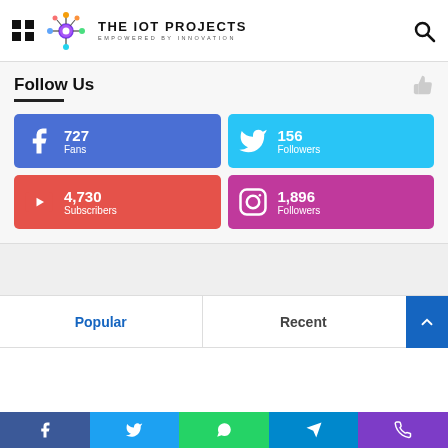THE IOT PROJECTS — EMPOWERED BY INNOVATION
Follow Us
727 Fans (Facebook)
156 Followers (Twitter)
4,730 Subscribers (YouTube)
1,896 Followers (Instagram)
Popular
Recent